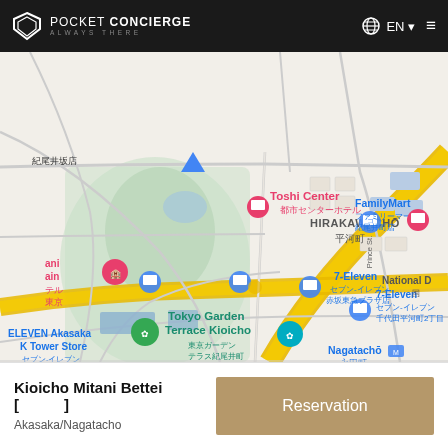POCKET CONCIERGE ALWAYS THERE | EN
[Figure (map): Google Maps view of Kioicho/Nagatacho area in Tokyo, Japan. Showing landmarks including Tokyo Garden Terrace Kioicho, FamilyMart, Toshi Center hotel, 7-Eleven stores, ELEVEN Akasaka K Tower Store, Nagatacho station, HIRAKAWACHO area. Map has yellow major roads, green park areas, and various blue/pink/green location pins.]
Kioicho Mitani Bettei [ ]
Akasaka/Nagatacho
Reservation